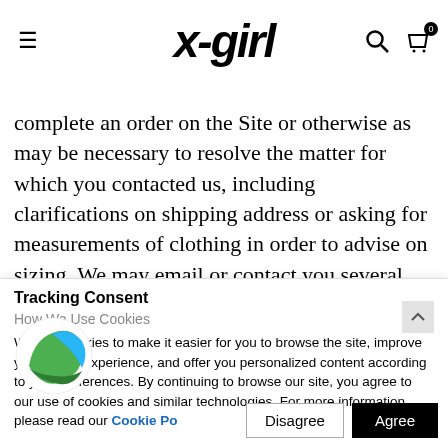x-girl
complete an order on the Site or otherwise as may be necessary to resolve the matter for which you contacted us, including clarifications on shipping address or asking for measurements of clothing in order to advise on sizing. We may email or contact you several times after your enquiry in order to follow up on your interest and ensure that we have resolved
Tracking Consent
How We Use Cookies
We use cookies to make it easier for you to browse the site, improve your online experience, and offer you personalized content according to your preferences. By continuing to browse our site, you agree to our use of cookies and similar technologies. For more information, please read our Cookie Policy